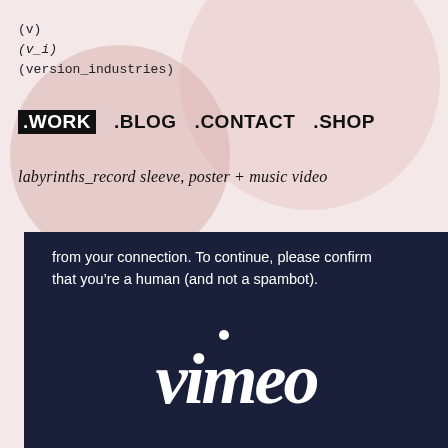(v)
(v_i)
(version_industries)
.WORK  .BLOG  .CONTACT  .SHOP
labyrinths_record sleeve, poster + music video
[Figure (screenshot): Vimeo human verification screen on dark navy background with white text reading 'from your connection. To continue, please confirm that you’re a human (and not a spambot).' and the Vimeo logo below.]